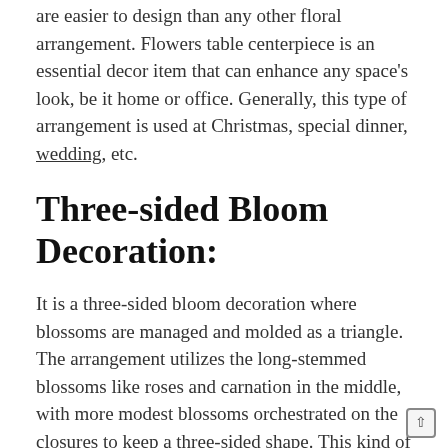are easier to design than any other floral arrangement. Flowers table centerpiece is an essential decor item that can enhance any space's look, be it home or office. Generally, this type of arrangement is used at Christmas, special dinner, wedding, etc.
Three-sided Bloom Decoration:
It is a three-sided bloom decoration where blossoms are managed and molded as a triangle. The arrangement utilizes the long-stemmed blossoms like roses and carnation in the middle, with more modest blossoms orchestrated on the closures to keep a three-sided shape. This kind of bloom decoration is, for the most part, utilized for wedding events and gatherings. This arrangement's style and design will surely draw your attention and will create a beautiful